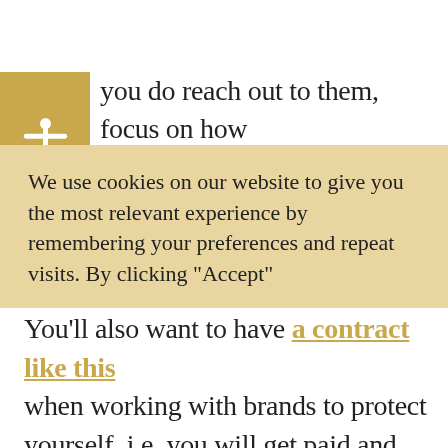you do reach out to them, focus on how you can add value to them and let them know what is in it for them.
You'll also want to have a contract like this when working with brands to protect yourself, i.e. you will get paid and that you are delivering only what they asked for.
We use cookies on our website to give you the most relevant experience by remembering your preferences and repeat visits. By clicking "Accept"